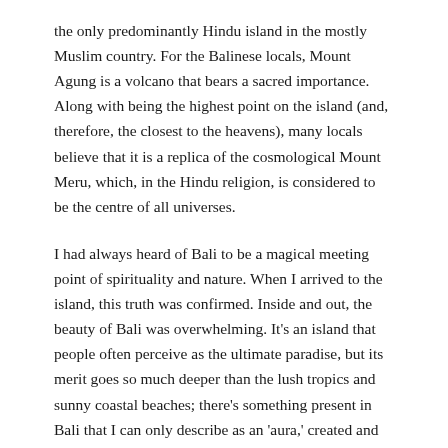the only predominantly Hindu island in the mostly Muslim country. For the Balinese locals, Mount Agung is a volcano that bears a sacred importance. Along with being the highest point on the island (and, therefore, the closest to the heavens), many locals believe that it is a replica of the cosmological Mount Meru, which, in the Hindu religion, is considered to be the centre of all universes.
I had always heard of Bali to be a magical meeting point of spirituality and nature. When I arrived to the island, this truth was confirmed. Inside and out, the beauty of Bali was overwhelming. It's an island that people often perceive as the ultimate paradise, but its merit goes so much deeper than the lush tropics and sunny coastal beaches; there's something present in Bali that I can only describe as an 'aura,' created and sustained by various pieces of a cosmic puzzle- the people, the culture,  the environment, the spirituality and, above all, the devotion. Our first days on the island were seasoned with this energy.